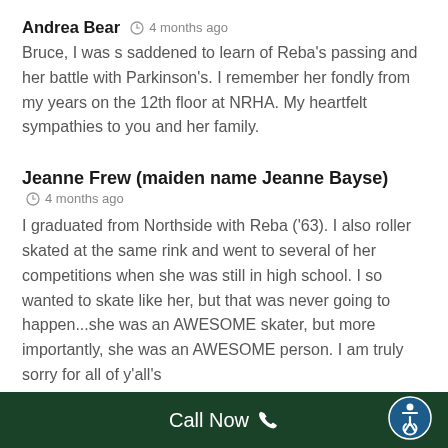Andrea Bear  🕐 4 months ago
Bruce, I was s saddened to learn of Reba's passing and her battle with Parkinson's. I remember her fondly from my years on the 12th floor at NRHA. My heartfelt sympathies to you and her family.
Jeanne Frew (maiden name Jeanne Bayse)  🕐 4 months ago
I graduated from Northside with Reba ('63). I also roller skated at the same rink and went to several of her competitions when she was still in high school. I so wanted to skate like her, but that was never going to happen...she was an AWESOME skater, but more importantly, she was an AWESOME person. I am truly sorry for all of y'all's
Call Now 📞